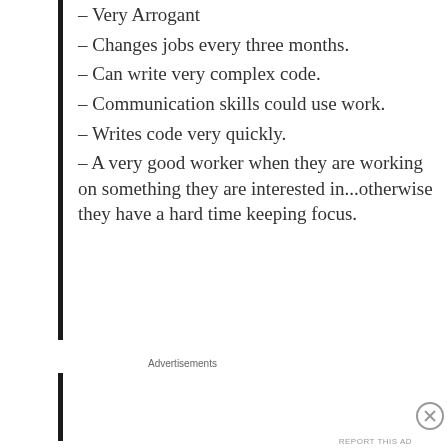– Very Arrogant
– Changes jobs every three months.
– Can write very complex code.
– Communication skills could use work.
– Writes code very quickly.
– A very good worker when they are working on something they are interested in...otherwise they have a hard time keeping focus.
Advertisements
[Figure (other): WordPress advertisement banner reading 'Opinions. We all have them!' with WordPress and Blog.com logos on dark navy background]